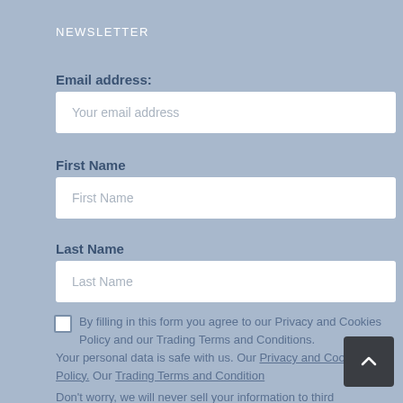NEWSLETTER
Email address:
[Figure (other): Email address input field with placeholder 'Your email address']
First Name
[Figure (other): First Name input field with placeholder 'First Name']
Last Name
[Figure (other): Last Name input field with placeholder 'Last Name']
By filling in this form you agree to our Privacy and Cookies Policy and our Trading Terms and Conditions.
Your personal data is safe with us. Our Privacy and Cookies Policy. Our Trading Terms and Conditions.
Don't worry, we will never sell your information to third